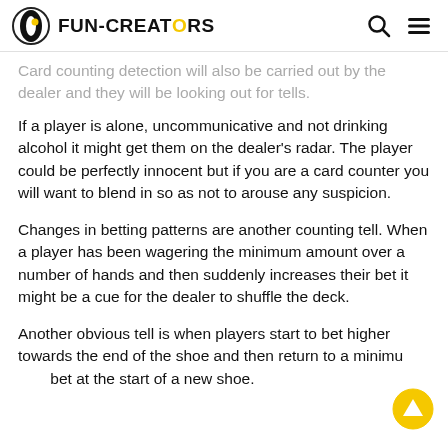FUN-CREATORS
Card counting detection will also be carried out by the dealer and they will be looking out for tells.
If a player is alone, uncommunicative and not drinking alcohol it might get them on the dealer's radar. The player could be perfectly innocent but if you are a card counter you will want to blend in so as not to arouse any suspicion.
Changes in betting patterns are another counting tell. When a player has been wagering the minimum amount over a number of hands and then suddenly increases their bet it might be a cue for the dealer to shuffle the deck.
Another obvious tell is when players start to bet higher towards the end of the shoe and then return to a minimum bet at the start of a new shoe.